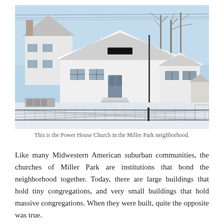[Figure (photo): Exterior photo of Power House Church in winter. A white building with a peaked roof covered in snow, a blue/grey entrance door with steps and a ramp, windows on the right side, a chain-link fence in the foreground, bare trees visible in the background, clear blue sky.]
This is the Power House Church in the Miller Park neighborhood.
Like many Midwestern American suburban communities, the churches of Miller Park are institutions that bond the neighborhood together. Today, there are large buildings that hold tiny congregations, and very small buildings that hold massive congregations. When they were built, quite the opposite was true.